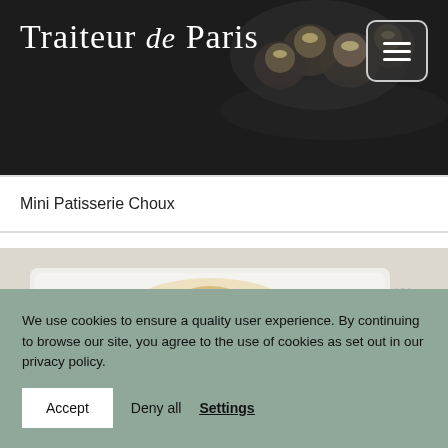[Figure (photo): Dark header with small round pastries (choux) on a plate in the background]
Traiteur de Paris
Mini Patisserie Choux
[Figure (photo): Gourmet dish plated on a white rectangular dish with vegetables and a sauce drizzle, with a fork visible on the right]
We use cookies to ensure a quality user experience. By continuing to browse our site, you agree to the use of cookies as set out in our privacy policy.
Accept   Deny all   Settings